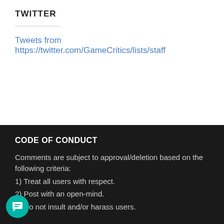TWITTER
Tweets from https://twitter.com/GameCritics/lists/staff
CODE OF CONDUCT
Comments are subject to approval/deletion based on the following criteria:
1) Treat all users with respect.
2) Post with an open-mind.
3) Do not insult and/or harass users.